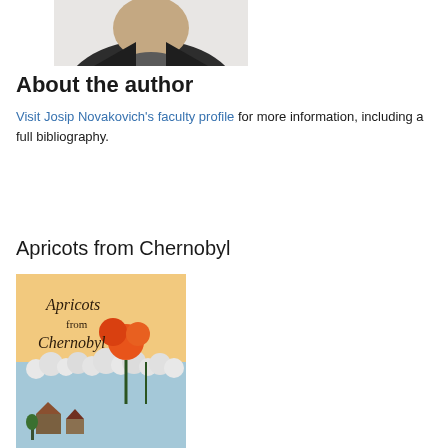[Figure (photo): Partial photo of Josip Novakovich, showing lower part of face and upper torso, wearing a dark jacket and gray shirt, white background]
About the author
Visit Josip Novakovich’s faculty profile for more information, including a full bibliography.
Apricots from Chernobyl
[Figure (photo): Book cover of Apricots from Chernobyl, featuring a warm peach/yellow background with illustrated flowers, clouds, and a small village scene at the bottom, with the book title in dark text]